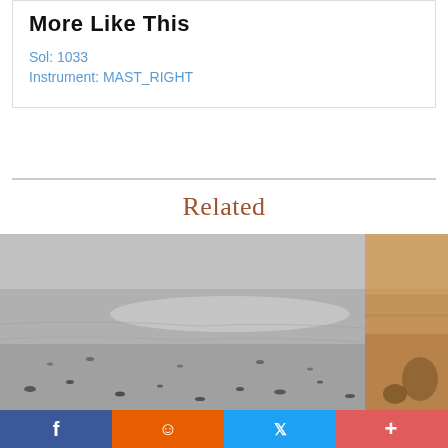More Like This
Sol: 1033
Instrument: MAST_RIGHT
Related
[Figure (photo): Grayscale Mars surface image showing rocky terrain with small dark rocks scattered across a dusty plain, taken by Curiosity rover MAST_RIGHT camera]
[Figure (photo): Partial view of a color Mars surface image showing brownish sandy terrain with rocks]
Social share bar with Facebook, Reddit, Twitter, and More buttons